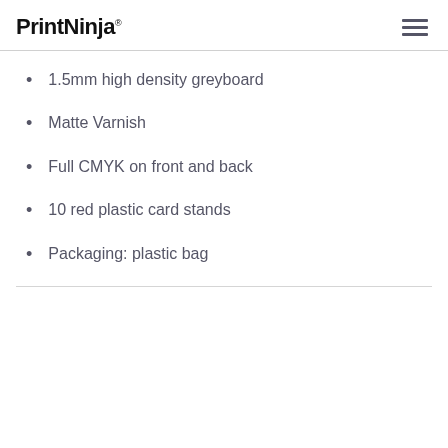PrintNinja
1.5mm high density greyboard
Matte Varnish
Full CMYK on front and back
10 red plastic card stands
Packaging: plastic bag